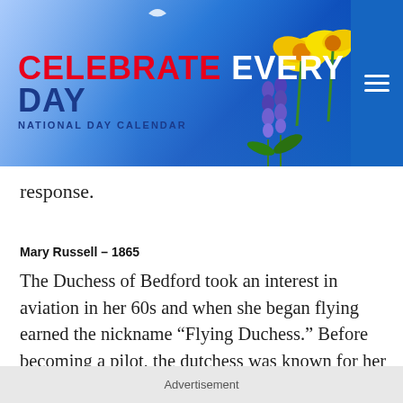[Figure (illustration): Website header banner for 'Celebrate Every Day – National Day Calendar' with blue sky, flowers (daffodils, muscari), and a hamburger menu icon on the right]
response.
Mary Russell – 1865
The Duchess of Bedford took an interest in aviation in her 60s and when she began flying earned the nickname “Flying Duchess.” Before becoming a pilot, the dutchess was known for her service during World War I.
Advertisement